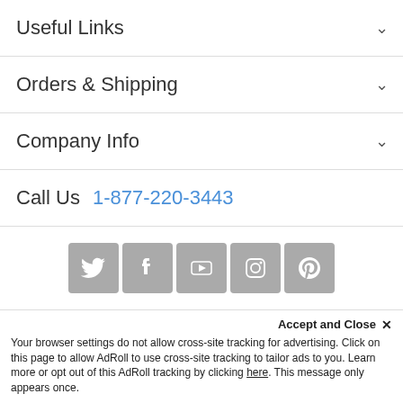Useful Links
Orders & Shipping
Company Info
Call Us  1-877-220-3443
[Figure (infographic): Row of 5 social media icons: Twitter, Facebook, YouTube, Instagram, Pinterest — grey rounded square buttons with white icons]
Newsletter
Accept and Close ✕
Your browser settings do not allow cross-site tracking for advertising. Click on this page to allow AdRoll to use cross-site tracking to tailor ads to you. Learn more or opt out of this AdRoll tracking by clicking here. This message only appears once.